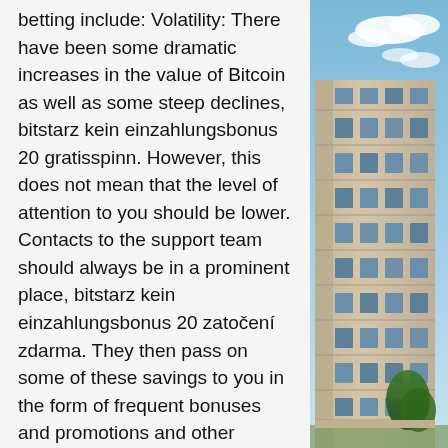betting include: Volatility: There have been some dramatic increases in the value of Bitcoin as well as some steep declines, bitstarz kein einzahlungsbonus 20 gratisspinn. However, this does not mean that the level of attention to you should be lower. Contacts to the support team should always be in a prominent place, bitstarz kein einzahlungsbonus 20 zatočení zdarma. They then pass on some of these savings to you in the form of frequent bonuses and promotions and other methods that help you in the end, bitstarz kein einzahlungsbonus october 2022. Gambling cryptocurrency has never been this popular. A big one is the price tag. While some betting sites will charge fees (sometimes big ones) for depositing via check or direct deposit, almost none will do the same for Bitcoin deposits, bitstarz kein einzahlungsbonus 20 freispiele. Cloudbet is one of the few crypto gambling sites to offer Esports betting, on some of the
[Figure (photo): Exterior photo of a modern multi-story office building with beige/tan facade and many windows, blue sky with clouds visible in the background, green tree at bottom right.]